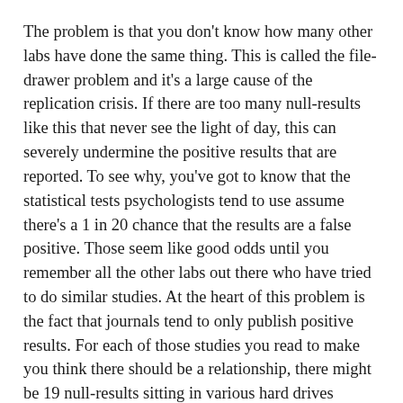The problem is that you don't know how many other labs have done the same thing. This is called the file-drawer problem and it's a large cause of the replication crisis. If there are too many null-results like this that never see the light of day, this can severely undermine the positive results that are reported. To see why, you've got to know that the statistical tests psychologists tend to use assume there's a 1 in 20 chance that the results are a false positive. Those seem like good odds until you remember all the other labs out there who have tried to do similar studies. At the heart of this problem is the fact that journals tend to only publish positive results. For each of those studies you read to make you think there should be a relationship, there might be 19 null-results sitting in various hard drives (though hard-drive-problem doesn't have quite the same poetic ring). If that's the case, then all those published results are probably just the result of chance – in other words, they're not real.
One of the other main causes of the replication crisis is what researchers sometimes call questionable (QRP, if